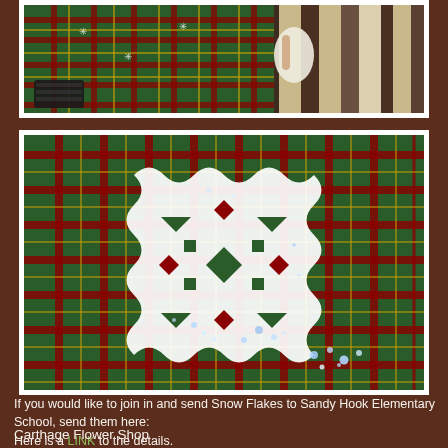[Figure (photo): Photo showing Christmas plaid fabric/wrapping paper and a stuffed animal or blanket with brown/cream stripes, viewed from above on a table.]
[Figure (photo): A white paper snowflake with glitter decoration, placed on a green and red plaid fabric background.]
If you would like to join in and send Snow Flakes to Sandy Hook Elementary School, send them here:
Here is a LINK to the details.
Carthage Flower Shop